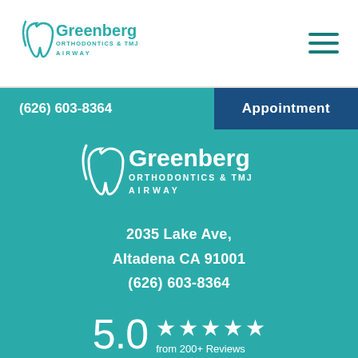[Figure (logo): Greenberg Orthodontics & TMJ Airway logo in teal with tooth icon]
[Figure (logo): Hamburger menu icon (three horizontal lines) in teal]
(626) 603-8364
Appointment
[Figure (logo): Greenberg Orthodontics & TMJ Airway logo in white on teal background]
2035 Lake Ave,
Altadena CA 91001
(626) 603-8364
5.0  ★★★★★  from 200+ Reviews